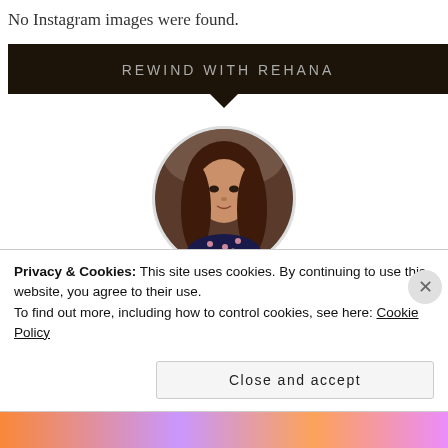No Instagram images were found.
REWIND WITH REHANA
[Figure (photo): Circular profile photo of a young woman with long dark reddish hair wearing a dark floral top, centered on white background]
Rewind with Reh...
Privacy & Cookies: This site uses cookies. By continuing to use this website, you agree to their use.
To find out more, including how to control cookies, see here: Cookie Policy
Close and accept